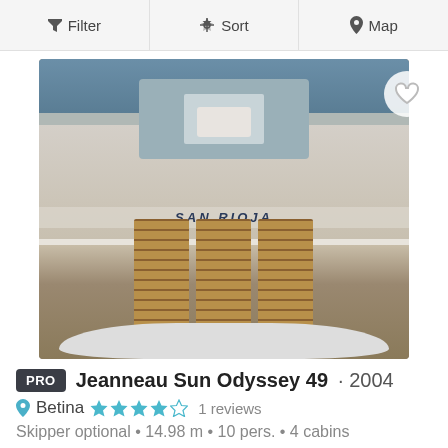Filter  Sort  Map
[Figure (photo): Aerial view of a sailboat named SAN RIOJA showing the deck with teak wood panels]
PRO  Jeanneau Sun Odyssey 49 · 2004
Betina  ★★★★☆  1 reviews
Skipper optional • 14.98 m • 10 pers. • 4 cabins
from
$100.26 ℹ
-10%